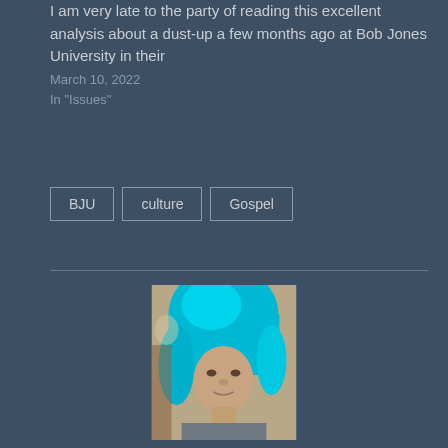I am very late to the party of reading this excellent analysis about a dust-up a few months ago at Bob Jones University in their
March 10, 2022
In "Issues"
BJU
culture
Gospel
[Figure (photo): Profile photo of a person with bright blue/teal dyed hair, looking at camera, indoor setting]